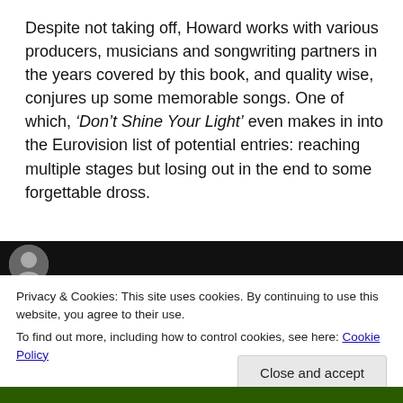Despite not taking off, Howard works with various producers, musicians and songwriting partners in the years covered by this book, and quality wise, conjures up some memorable songs. One of which, ‘Don’t Shine Your Light’ even makes in into the Eurovision list of potential entries: reaching multiple stages but losing out in the end to some forgettable dross.
[Figure (screenshot): Black video player background with a circular avatar/profile image in the top-left area]
Privacy & Cookies: This site uses cookies. By continuing to use this website, you agree to their use.
To find out more, including how to control cookies, see here: Cookie Policy
Close and accept